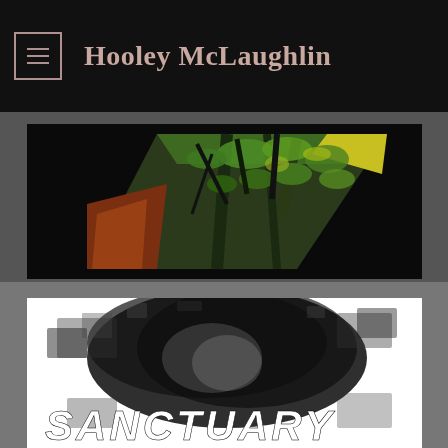Hooley McLaughlin
[Figure (photo): A parallelogram/diamond-shaped cropped painting showing lush green trees and foliage against a yellow sky, with reddish-brown elements on the left side, displayed against a black background.]
[Figure (photo): A black-and-white artwork showing a dark smudged/textured abstract form resembling a figure or head, with the word SANCTUARY printed in large bold white italic letters at the bottom, on a white background.]